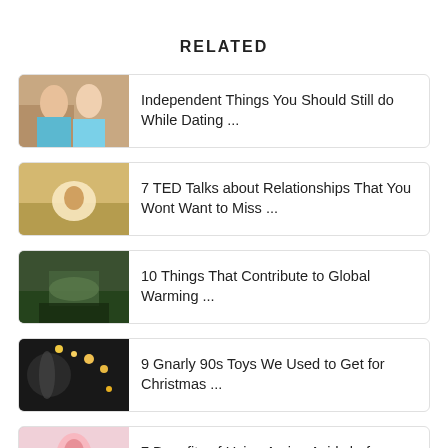RELATED
Independent Things You Should Still do While Dating ...
7 TED Talks about Relationships That You Wont Want to Miss ...
10 Things That Contribute to Global Warming ...
9 Gnarly 90s Toys We Used to Get for Christmas ...
7 Benefits of Using Amino Acids before and after ...